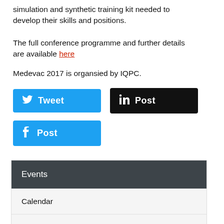simulation and synthetic training kit needed to develop their skills and positions.
The full conference programme and further details are available here
Medevac 2017 is organsied by IQPC.
[Figure (other): Twitter Tweet button (blue), LinkedIn Post button (black)]
[Figure (other): Facebook Post button (blue)]
Events
Calendar
Previews and Reviews